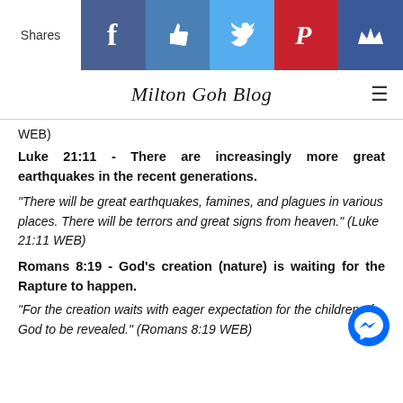[Figure (screenshot): Social share bar with Facebook, Like, Twitter, Pinterest, and Crown icons]
Milton Goh Blog
WEB)
Luke 21:11 - There are increasingly more great earthquakes in the recent generations.
“There will be great earthquakes, famines, and plagues in various places. There will be terrors and great signs from heaven.” (Luke 21:11 WEB)
Romans 8:19 - God’s creation (nature) is waiting for the Rapture to happen.
“For the creation waits with eager expectation for the children of God to be revealed.” (Romans 8:19 WEB)